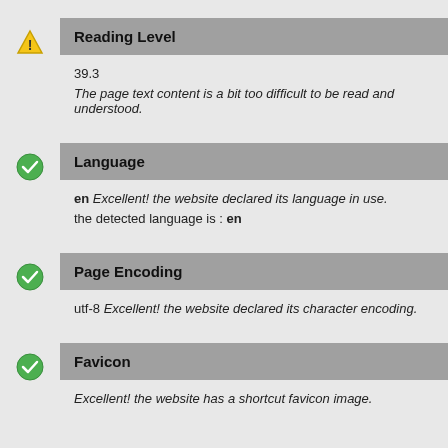Reading Level
39.3
The page text content is a bit too difficult to be read and understood.
Language
en Excellent! the website declared its language in use.
the detected language is : en
Page Encoding
utf-8 Excellent! the website declared its character encoding.
Favicon
Excellent! the website has a shortcut favicon image.